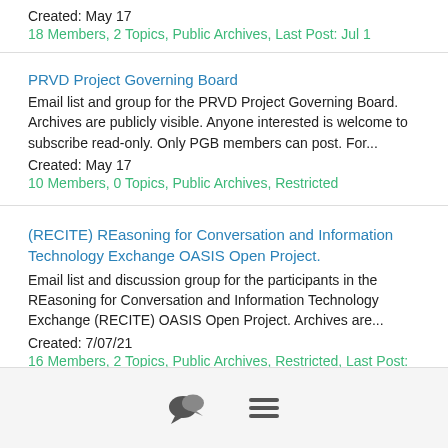Created: May 17
18 Members, 2 Topics, Public Archives, Last Post: Jul 1
PRVD Project Governing Board
Email list and group for the PRVD Project Governing Board. Archives are publicly visible. Anyone interested is welcome to subscribe read-only. Only PGB members can post. For...
Created: May 17
10 Members, 0 Topics, Public Archives, Restricted
(RECITE) REasoning for Conversation and Information Technology Exchange OASIS Open Project.
Email list and discussion group for the participants in the REasoning for Conversation and Information Technology Exchange (RECITE) OASIS Open Project. Archives are...
Created: 7/07/21
16 Members, 2 Topics, Public Archives, Restricted, Last Post: Mar 7